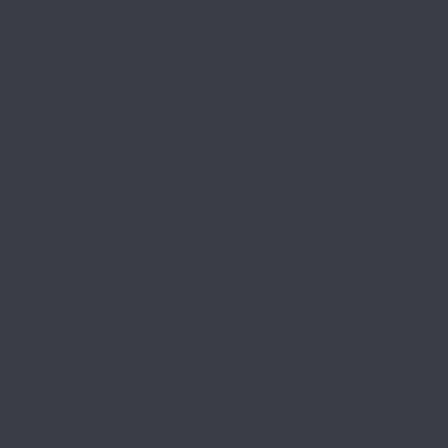Some people in San Martin can suffer from depression. This can be exceedingly alcoholism in their family. A San Mar but he or she must first focus on the work on the underlying psychological they are using alcohol and the cons present and the future, while making will be addressed once the patient ha
Alcoholism is a difficult problem but without having to be dependent on a
Inpatient Drug Rehab, S
What Is Drug Rehabilitation?
Drug rehabilitation is what is medica drug dependent or could be consider This process must be undertaken particular types of drugs and deper opiates, for isntance, prescription prescription drugs, without even mer process must be done with a certain a way that might cause the patien dependent person might see psych without being able to stop the drug u to need help from a San Martin, Cali in which a patient needs support as through the day without the use of th seek help from an inpatient drug trea
What Types of Drug Rehab Are Ther
Drug rehabilitation is a complicated several elements attached to it. The start to approach a drug addiction or
What Is Considered To be Outpatien